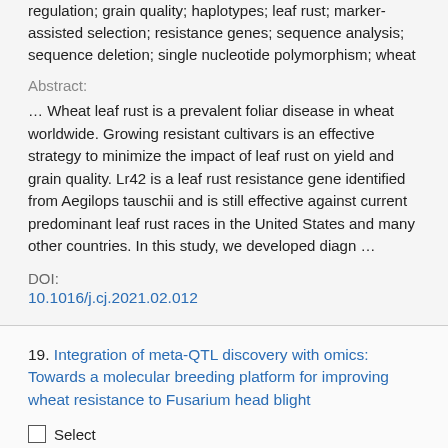regulation; grain quality; haplotypes; leaf rust; marker-assisted selection; resistance genes; sequence analysis; sequence deletion; single nucleotide polymorphism; wheat
Abstract:
… Wheat leaf rust is a prevalent foliar disease in wheat worldwide. Growing resistant cultivars is an effective strategy to minimize the impact of leaf rust on yield and grain quality. Lr42 is a leaf rust resistance gene identified from Aegilops tauschii and is still effective against current predominant leaf rust races in the United States and many other countries. In this study, we developed diagn …
DOI:
10.1016/j.cj.2021.02.012
19. Integration of meta-QTL discovery with omics: Towards a molecular breeding platform for improving wheat resistance to Fusarium head blight
Select